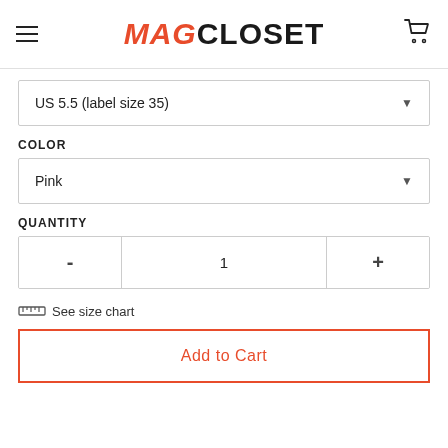MAGCLOSET
US 5.5 (label size 35)
COLOR
Pink
QUANTITY
- 1 +
See size chart
Add to Cart